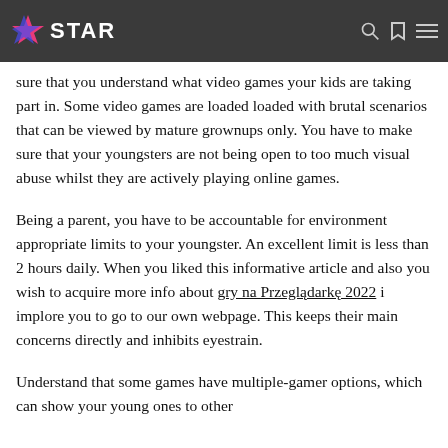STAR
sure that you understand what video games your kids are taking part in. Some video games are loaded loaded with brutal scenarios that can be viewed by mature grownups only. You have to make sure that your youngsters are not being open to too much visual abuse whilst they are actively playing online games.
Being a parent, you have to be accountable for environment appropriate limits to your youngster. An excellent limit is less than 2 hours daily. When you liked this informative article and also you wish to acquire more info about gry na Przeglądarkę 2022 i implore you to go to our own webpage. This keeps their main concerns directly and inhibits eyestrain.
Understand that some games have multiple-gamer options, which can show your young ones to other